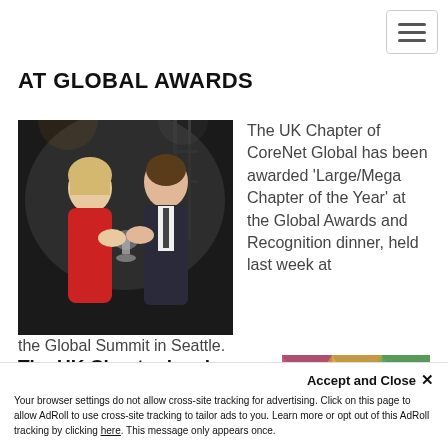AT GLOBAL AWARDS
[Figure (photo): Two people at an awards ceremony. A woman in a red top and a man in a dark suit are shaking hands and exchanging an award trophy on a dark stage.]
The UK Chapter of CoreNet Global has been awarded 'Large/Mega Chapter of the Year' at the Global Awards and Recognition dinner, held last week at the Global Summit in Seattle.
The UK Chapter has been recognised for its membership
[Figure (photo): A colourful table setting or food display with patterned textiles in the background.]
Accept and Close ✕
Your browser settings do not allow cross-site tracking for advertising. Click on this page to allow AdRoll to use cross-site tracking to tailor ads to you. Learn more or opt out of this AdRoll tracking by clicking here. This message only appears once.